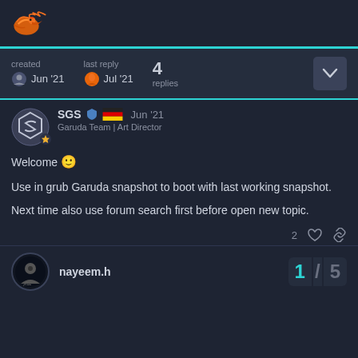Garuda Linux Forum
created Jun '21  last reply Jul '21  4 replies
SGS  Garuda Team | Art Director  Jun '21
Welcome 🙂

Use in grub Garuda snapshot to boot with last working snapshot.

Next time also use forum search first before open new topic.
nayeem.h  1/5